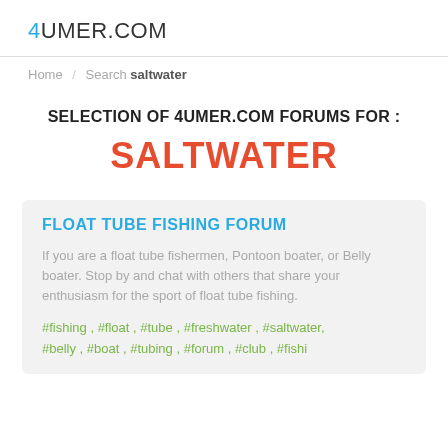4UMER.COM
Home / Search saltwater
SELECTION OF 4UMER.COM FORUMS FOR :
SALTWATER
FLOAT TUBE FISHING FORUM
If you are a float tube fishermen, Pontoon boater, or Belly boater. Stop by and chat with others that share your enthusiasm for the sport of float tube fishing.
#fishing , #float , #tube , #freshwater , #saltwater, #belly , #boat , #tubing , #forum , #club , #fishi